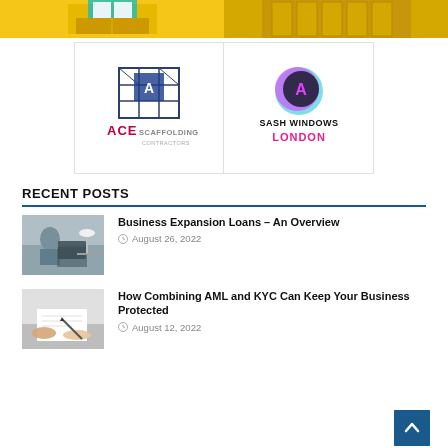[Figure (illustration): Top strip of two colored building/house illustration images side by side]
[Figure (logo): ACE Scaffolding Contractors logo on white background]
[Figure (logo): Sash Windows London logo with circular icon and bold text]
RECENT POSTS
[Figure (photo): Woman sitting at desk working on laptop]
Business Expansion Loans – An Overview
August 26, 2022
[Figure (photo): Hands signing or reviewing documents on desk]
How Combining AML and KYC Can Keep Your Business Protected
August 12, 2022